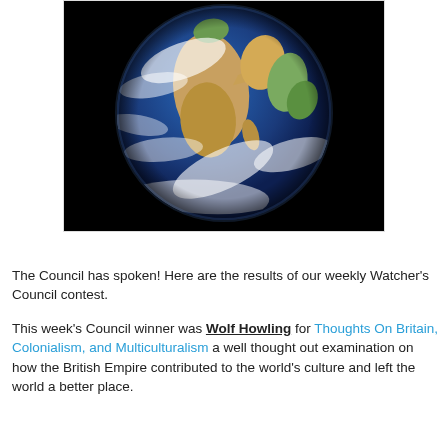[Figure (photo): Photograph of Earth from space showing Africa, Europe, and the Indian Ocean against a black background]
The Council has spoken! Here are the results of our weekly Watcher's Council contest.
This week's Council winner was Wolf Howling for Thoughts On Britain, Colonialism, and Multiculturalism a well thought out examination on how the British Empire contributed to the world's culture and left the world a better place.